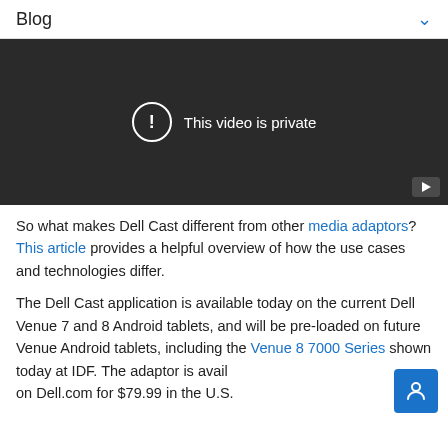Blog
[Figure (screenshot): Embedded video player showing 'This video is private' message with exclamation icon on dark background, YouTube play button in bottom-right corner.]
So what makes Dell Cast different from other media adaptors? This article provides a helpful overview of how the use cases and technologies differ.
The Dell Cast application is available today on the current Dell Venue 7 and 8 Android tablets, and will be pre-loaded on future Venue Android tablets, including the Venue 8 7000 Series shown today at IDF. The adaptor is available on Dell.com for $79.99 in the U.S.